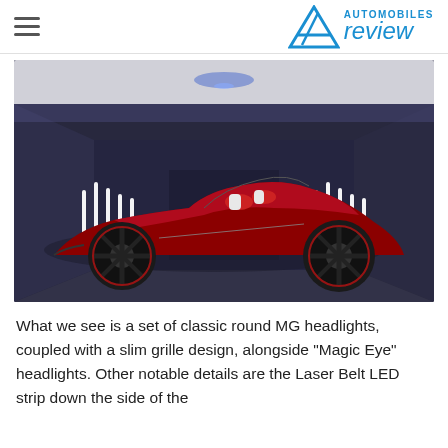Automobiles Review
[Figure (photo): A red MG concept sports car (open-top roadster) displayed in a dark showroom with blue/purple accent lighting strips on the walls. The car is viewed from the side profile, showing large black wheels, a low-slung body, and red interior seats.]
What we see is a set of classic round MG headlights, coupled with a slim grille design, alongside "Magic Eye" headlights. Other notable details are the Laser Belt LED strip down the side of the